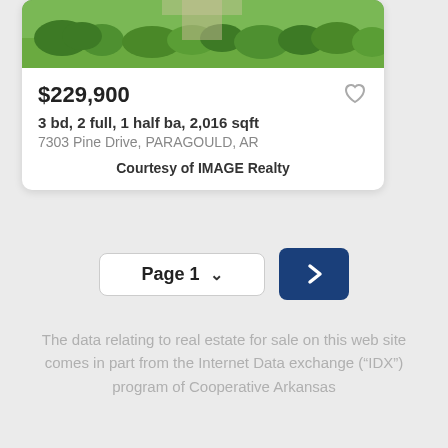[Figure (photo): Aerial/exterior photo of property showing green landscaped lawn and bushes]
$229,900
3 bd, 2 full, 1 half ba, 2,016 sqft
7303 Pine Drive, PARAGOULD, AR
Courtesy of IMAGE Realty
Page 1
The data relating to real estate for sale on this web site comes in part from the Internet Data exchange (“IDX”) program of Cooperative Arkansas